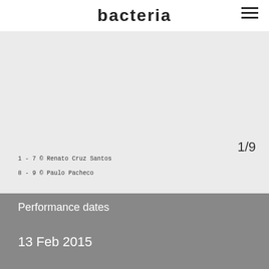bacteria
1/9
1 - 7 © Renato Cruz Santos
8 - 9 © Paulo Pacheco
Performance dates
13 Feb 2015